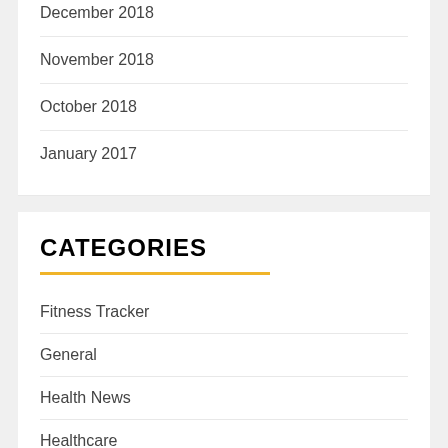December 2018
November 2018
October 2018
January 2017
CATEGORIES
Fitness Tracker
General
Health News
Healthcare
Healthy Snacks
Workout